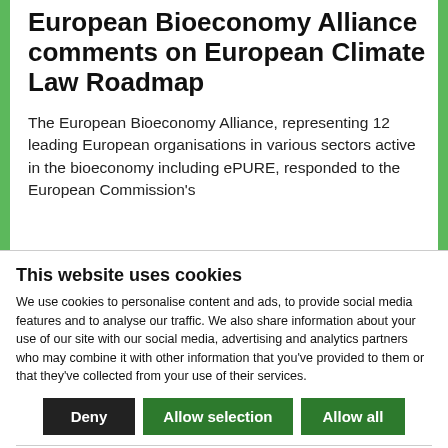European Bioeconomy Alliance comments on European Climate Law Roadmap
The European Bioeconomy Alliance, representing 12 leading European organisations in various sectors active in the bioeconomy including ePURE, responded to the European Commission's
This website uses cookies
We use cookies to personalise content and ads, to provide social media features and to analyse our traffic. We also share information about your use of our site with our social media, advertising and analytics partners who may combine it with other information that you've provided to them or that they've collected from your use of their services.
Deny | Allow selection | Allow all
Necessary  Preferences  Statistics  Marketing  Show details